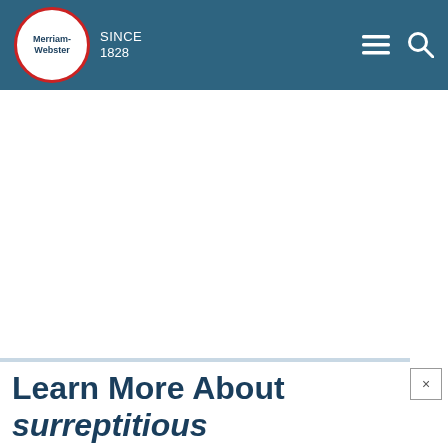Merriam-Webster SINCE 1828
Learn More About surreptitious